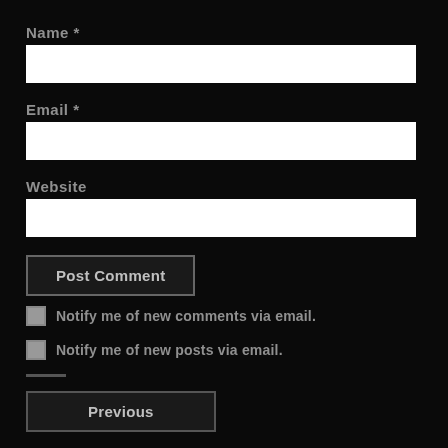Name *
Email *
Website
Post Comment
Notify me of new comments via email.
Notify me of new posts via email.
Previous